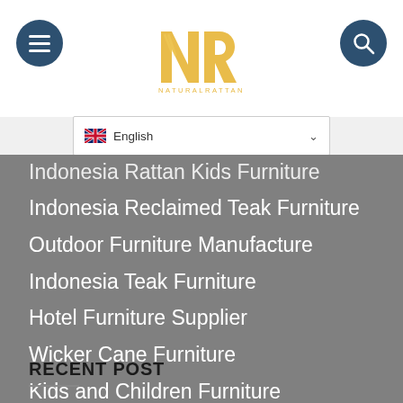[Figure (logo): NR Natural Rattan logo in gold/yellow color, centered in header]
Indonesia Rattan Kids Furniture
Indonesia Reclaimed Teak Furniture
Outdoor Furniture Manufacture
Indonesia Teak Furniture
Hotel Furniture Supplier
Wicker Cane Furniture
Kids and Children Furniture
Baby Furniture and Rattan Toys
Home Furniture Supplier Indon
Rattan Furniture
Home Furniture and Home Decor
RECENT POST